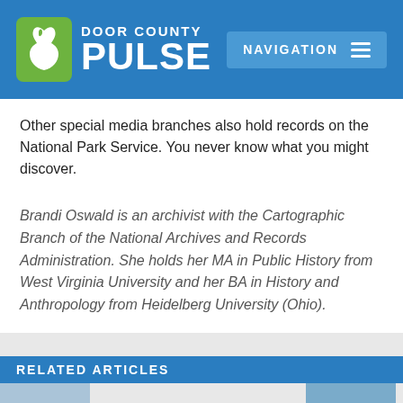[Figure (logo): Door County Pulse logo with green rabbit icon and blue background, plus Navigation button]
Other special media branches also hold records on the National Park Service. You never know what you might discover.
Brandi Oswald is an archivist with the Cartographic Branch of the National Archives and Records Administration. She holds her MA in Public History from West Virginia University and her BA in History and Anthropology from Heidelberg University (Ohio).
RELATED ARTICLES